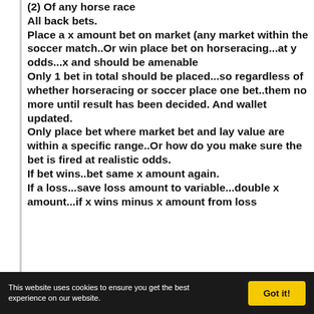(2) Of any horse race
All back bets.
Place a x amount bet on market (any market within the soccer match..Or win place bet on horseracing...at y odds...x and should be amenable
Only 1 bet in total should be placed...so regardless of whether horseracing or soccer place one bet..them no more until result has been decided. And wallet updated.
Only place bet where market bet and lay value are within a specific range..Or how do you make sure the bet is fired at realistic odds.
If bet wins..bet same x amount again.
If a loss...save loss amount to variable...double x amount...if x wins minus x amount from loss variable...
This website uses cookies to ensure you get the best experience on our website.